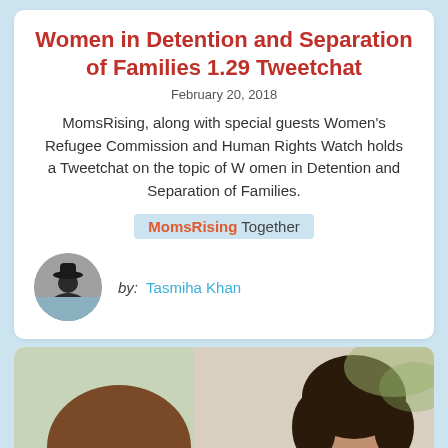Women in Detention and Separation of Families 1.29 Tweetchat
February 20, 2018
MomsRising, along with special guests Women's Refugee Commission and Human Rights Watch holds a Tweetchat on the topic of W omen in Detention and Separation of Families.
MomsRising Together
by: Tasmiha Khan
[Figure (photo): Two women in conversation, one with short brown hair seen from behind, the other with curly dark hair smiling, wearing a blue top]